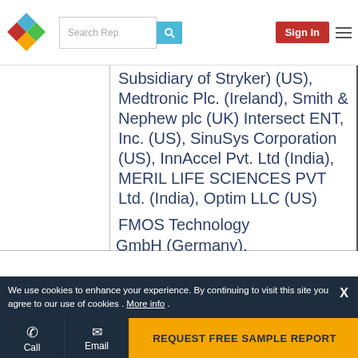Search Rep | Sign In
Subsidiary of Stryker) (US), Medtronic Plc. (Ireland), Smith & Nephew plc (UK) Intersect ENT, Inc. (US), SinuSys Corporation (US), InnAccel Pvt. Ltd (India), MERIL LIFE SCIENCES PVT Ltd. (India), Optim LLC (US) FMOS Technology GmbH (Germany).
We use cookies to enhance your experience. By continuing to visit this site you agree to our use of cookies . More info.
REQUEST FREE SAMPLE REPORT